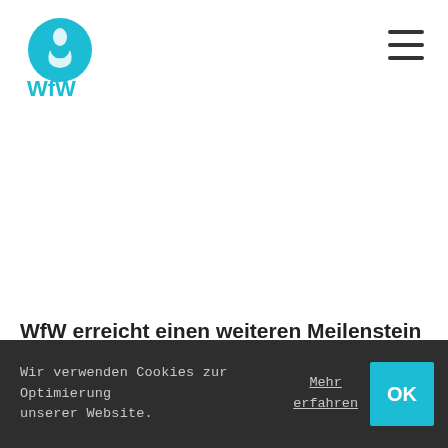[Figure (logo): WfW logo — circular teal badge with flame/water icon and 'WfW' text in teal below]
[Figure (other): Hamburger menu icon — three horizontal dark bars in top-right corner]
WfW erreicht einen weiteren Meilenstein
Wir verwenden Cookies zur Optimierung unserer Website.
Mehr erfahren
OK